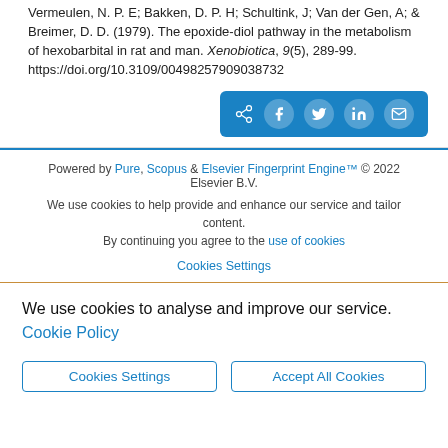Vermeulen, N. P. E; Bakken, D. P. H; Schultink, J; Van der Gen, A; Breimer, D. D. (1979). The epoxide-diol pathway in the metabolism of hexobarbital in rat and man. Xenobiotica, 9(5), 289-99. https://doi.org/10.3109/00498257909038732
[Figure (other): Share bar with social media icons: share/arrow icon, Facebook, Twitter, LinkedIn, Email on blue background]
Powered by Pure, Scopus & Elsevier Fingerprint Engine™ © 2022 Elsevier B.V.
We use cookies to help provide and enhance our service and tailor content. By continuing you agree to the use of cookies
Cookies Settings
We use cookies to analyse and improve our service. Cookie Policy
Cookies Settings
Accept All Cookies